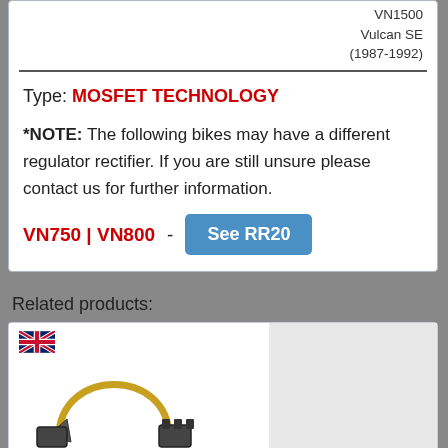VN1500 Vulcan SE (1987-1992)
Type: MOSFET TECHNOLOGY
*NOTE: The following bikes may have a different regulator rectifier. If you are still unsure please contact us for further information.
VN750 | VN800 - See RR20
Related products:
[Figure (photo): Easy Fit Harness Repair Adapter product photo with UK flag]
Easy Fit Harness Repair Adapter - CHA-3C
£14.40